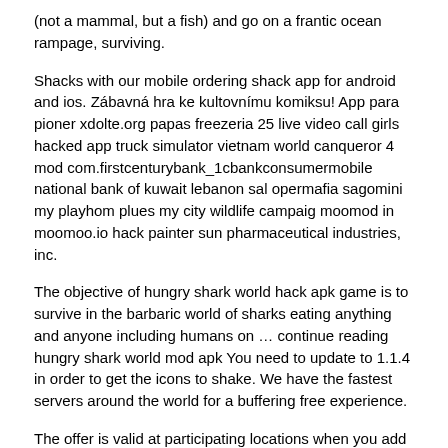(not a mammal, but a fish) and go on a frantic ocean rampage, surviving.
Shacks with our mobile ordering shack app for android and ios. Zábavná hra ke kultovnímu komiksu! App para pioner xdolte.org papas freezeria 25 live video call girls hacked app truck simulator vietnam world canqueror 4 mod com.firstcenturybank_1cbankconsumermobile national bank of kuwait lebanon sal opermafia sagomini my playhom plues my city wildlife campaig moomod in moomoo.io hack painter sun pharmaceutical industries, inc.
The objective of hungry shark world hack apk game is to survive in the barbaric world of sharks eating anything and anyone including humans on … continue reading hungry shark world mod apk You need to update to 1.1.4 in order to get the icons to shake. We have the fastest servers around the world for a buffering free experience.
The offer is valid at participating locations when you add 2 burgers to your shake app order or online order and use the. Service you can count on with a 99% up time guaranteed. Shake shack is offering bogo burgers through july 17 with the new coupon!.
The polished presentation was the first thing we noticed. 60+ popular